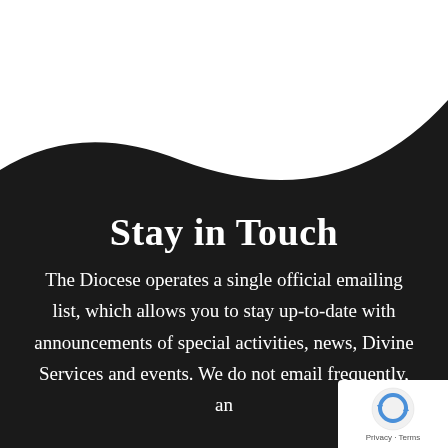[Figure (illustration): White curved shape at top of page on dark background, creating a swooping decorative element]
Stay in Touch
The Diocese operates a single official emailing list, which allows you to stay up-to-date with announcements of special activities, news, Divine Services and events. We do not email frequently, an...
[Figure (logo): reCAPTCHA badge in bottom right corner showing reCAPTCHA logo with Privacy and Terms text]